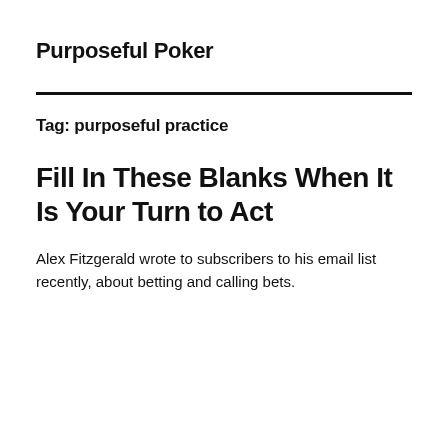Purposeful Poker
Tag: purposeful practice
Fill In These Blanks When It Is Your Turn to Act
Alex Fitzgerald wrote to subscribers to his email list recently, about betting and calling bets.